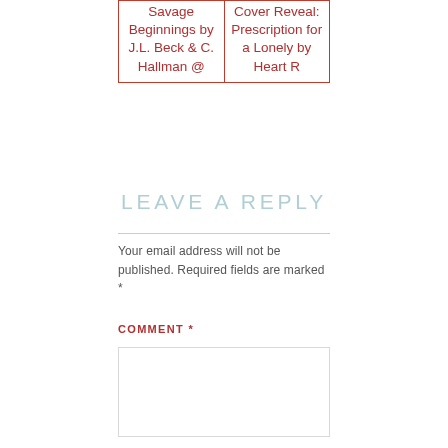| Savage Beginnings by J.L. Beck & C. Hallman @ | Cover Reveal: Prescription for a Lonely by Heart R |
LEAVE A REPLY
Your email address will not be published. Required fields are marked *
COMMENT *